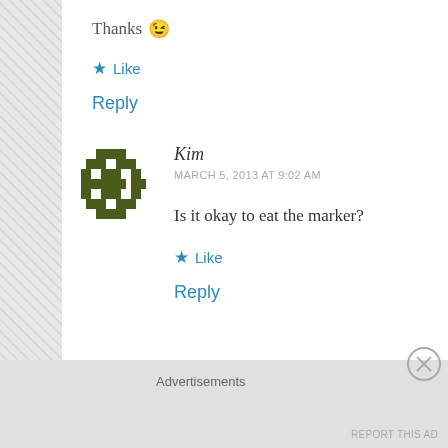Thanks 😉
★ Like
Reply
Kim
MARCH 5, 2013 AT 9:02 AM
Is it okay to eat the marker?
★ Like
Reply
Advertisements